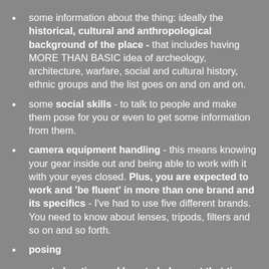some information about the thing: ideally the historical, cultural and anthropological background of the place - that includes having MORE THAN BASIC idea of archeology, architecture, warfare, social and cultural history, ethnic groups and the list goes on and on and on.
some social skills - to talk to people and make them pose for you or even to get some information from them.
camera equipment handling - this means knowing your gear inside out and being able to work with it with your eyes closed. Plus, you are expected to work and 'be fluent' in more than one brand and its specifics - I've had to use five different brands. You need to know about lenses, tripods, filters and so on and so forth.
posing
event shooting and how to behave at that time
lighting (studio lighting, I mean)